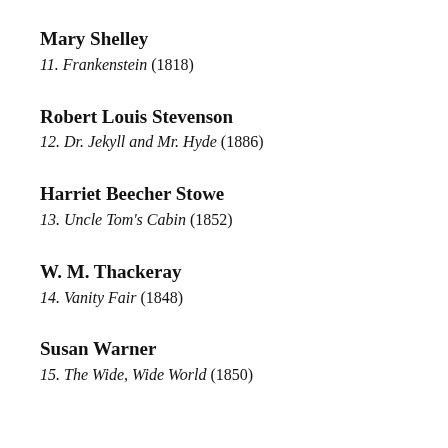Mary Shelley
11. Frankenstein (1818)
Robert Louis Stevenson
12. Dr. Jekyll and Mr. Hyde (1886)
Harriet Beecher Stowe
13. Uncle Tom's Cabin (1852)
W. M. Thackeray
14. Vanity Fair (1848)
Susan Warner
15. The Wide, Wide World (1850)